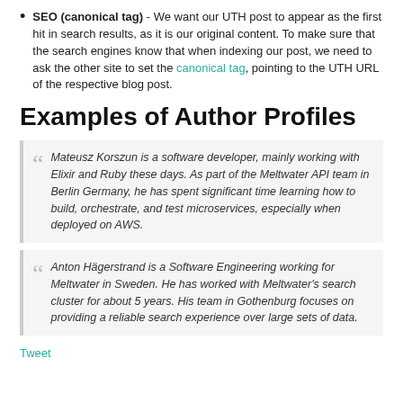SEO (canonical tag) - We want our UTH post to appear as the first hit in search results, as it is our original content. To make sure that the search engines know that when indexing our post, we need to ask the other site to set the canonical tag, pointing to the UTH URL of the respective blog post.
Examples of Author Profiles
Mateusz Korszun is a software developer, mainly working with Elixir and Ruby these days. As part of the Meltwater API team in Berlin Germany, he has spent significant time learning how to build, orchestrate, and test microservices, especially when deployed on AWS.
Anton Hägerstrand is a Software Engineering working for Meltwater in Sweden. He has worked with Meltwater's search cluster for about 5 years. His team in Gothenburg focuses on providing a reliable search experience over large sets of data.
Tweet